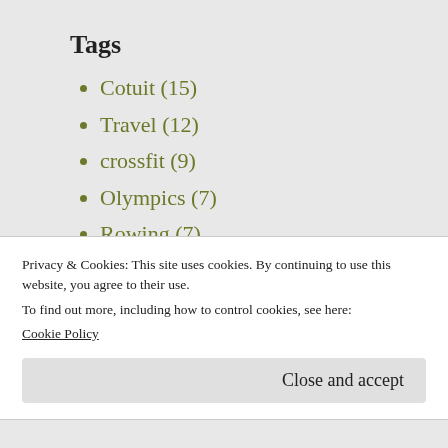Tags
Cotuit (15)
Travel (12)
crossfit (9)
Olympics (7)
Rowing (7)
Year
2022 (6)
2021 (15)
Privacy & Cookies: This site uses cookies. By continuing to use this website, you agree to their use.
To find out more, including how to control cookies, see here:
Cookie Policy
Close and accept